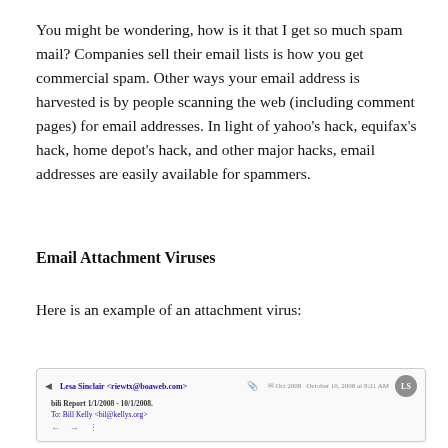You might be wondering, how is it that I get so much spam mail?  Companies sell their email lists is how you get commercial spam.  Other ways your email address is harvested is by people scanning the web (including comment pages) for email addresses.  In light of yahoo's hack, equifax's hack, home depot's hack, and other major hacks, email addresses are easily available for spammers.
Email Attachment Viruses
Here is an example of an attachment virus:
[Figure (screenshot): Email client screenshot showing a message from Lesa Sinclair <riewtx@boaweb.com>, dated Oct 2008, with subject 'bili Report 1/1/2008 - 10/1/2008', To: Bill Kelly <bil@kellys.org>, with a grey avatar showing 'LS']